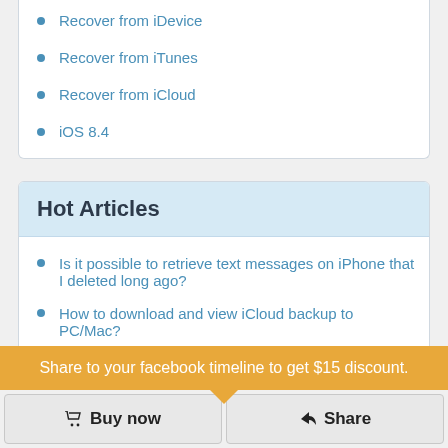Recover from iDevice
Recover from iTunes
Recover from iCloud
iOS 8.4
Hot Articles
Is it possible to retrieve text messages on iPhone that I deleted long ago?
How to download and view iCloud backup to PC/Mac?
How to recover deleted texts from iPhone directly?
How to transfer iPhone data to computer before an iOS 12.4 update?
Share to your facebook timeline to get $15 discount.